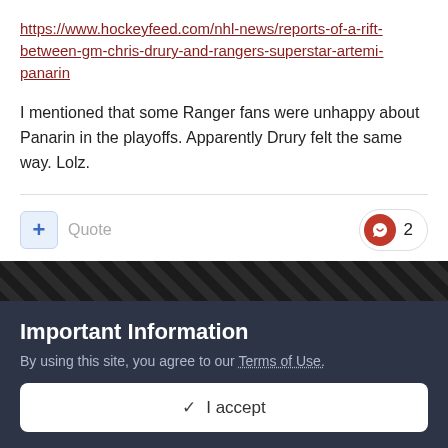https://www.hockeyfeed.com/nhl-news/reports-of-a-rift-between-gm-chris-drury-and-rangers-superstar-artemi-panarin
I mentioned that some Ranger fans were unhappy about Panarin in the playoffs. Apparently Drury felt the same way. Lolz.
mfitz804
Posted June 24
Important Information
By using this site, you agree to our Terms of Use.
✓ I accept